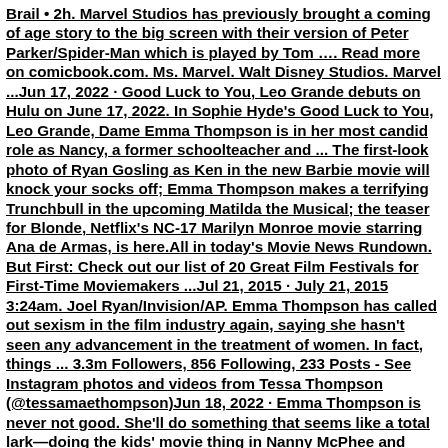Brail • 2h. Marvel Studios has previously brought a coming of age story to the big screen with their version of Peter Parker/Spider-Man which is played by Tom …. Read more on comicbook.com. Ms. Marvel. Walt Disney Studios. Marvel ...Jun 17, 2022 · Good Luck to You, Leo Grande debuts on Hulu on June 17, 2022. In Sophie Hyde's Good Luck to You, Leo Grande, Dame Emma Thompson is in her most candid role as Nancy, a former schoolteacher and ... The first-look photo of Ryan Gosling as Ken in the new Barbie movie will knock your socks off; Emma Thompson makes a terrifying Trunchbull in the upcoming Matilda the Musical; the teaser for Blonde, Netflix's NC-17 Marilyn Monroe movie starring Ana de Armas, is here.All in today's Movie News Rundown. But First: Check out our list of 20 Great Film Festivals for First-Time Moviemakers ...Jul 21, 2015 · July 21, 2015 3:24am. Joel Ryan/Invision/AP. Emma Thompson has called out sexism in the film industry again, saying she hasn't seen any advancement in the treatment of women. In fact, things ... 3.3m Followers, 856 Following, 233 Posts - See Instagram photos and videos from Tessa Thompson (@tessamaethompson)Jun 18, 2022 · Emma Thompson is never not good. She'll do something that seems like a total lark—doing the kids' movie thing in Nanny McPhee and Cruella, writing a Christmas movie based on a cheesy Wham! song, playing a late-night talk show host in a Mindy Kaling movie —and be utterly brilliant